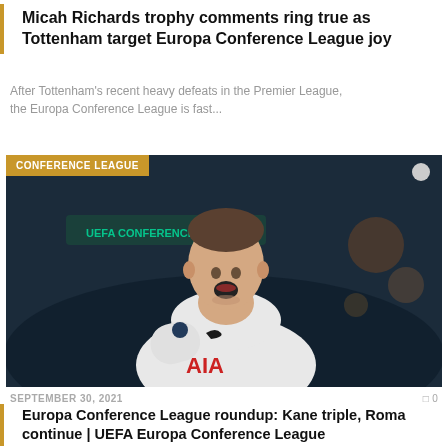Micah Richards trophy comments ring true as Tottenham target Europa Conference League joy
After Tottenham's recent heavy defeats in the Premier League, the Europa Conference League is fast...
[Figure (photo): Photo of a Tottenham player (Harry Kane) in white AIA kit celebrating with mouth open, looking upward, dark stadium background with green UEFA Conference League branding. Orange 'CONFERENCE LEAGUE' badge overlay top-left.]
SEPTEMBER 30, 2021
0
Europa Conference League roundup: Kane triple, Roma continue | UEFA Europa Conference League